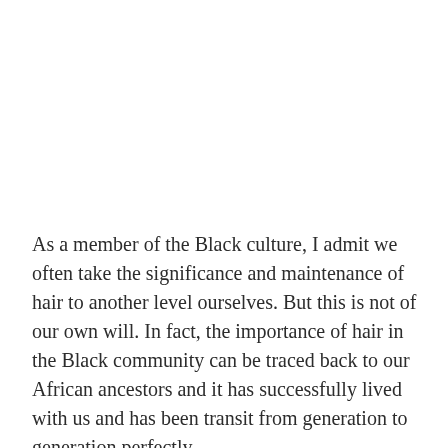As a member of the Black culture, I admit we often take the significance and maintenance of hair to another level ourselves. But this is not of our own will. In fact, the importance of hair in the Black community can be traced back to our African ancestors and it has successfully lived with us and has been transit from generation to generation perfectly.
And the history of the affair begins trace from here